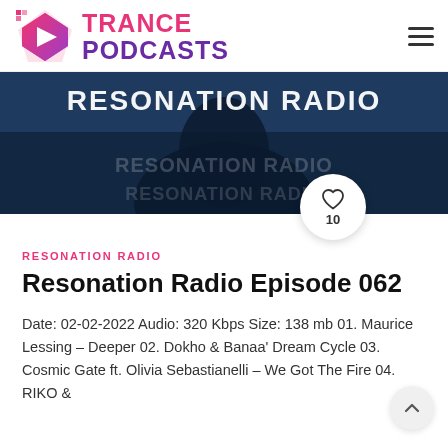TRANCE PODCASTS
[Figure (photo): Resonation Radio banner image showing a dark silhouette with 'RESONATION RADIO' text overlay and a like button showing 10 likes]
RESONATION RADIO
Resonation Radio Episode 062
Date: 02-02-2022 Audio: 320 Kbps Size: 138 mb 01. Maurice Lessing – Deeper 02. Dokho & Banaa' Dream Cycle 03. Cosmic Gate ft. Olivia Sebastianelli – We Got The Fire 04. RIKO &